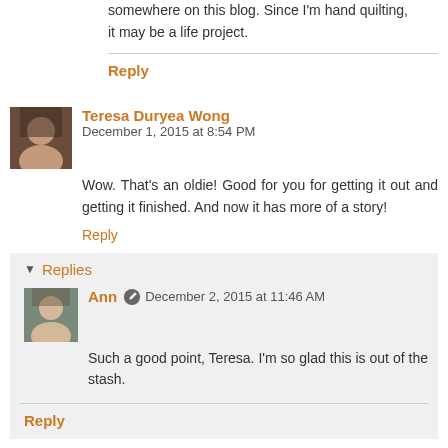somewhere on this blog. Since I'm hand quilting, it may be a life project.
Reply
Teresa Duryea Wong  December 1, 2015 at 8:54 PM
Wow. That's an oldie! Good for you for getting it out and getting it finished. And now it has more of a story!
Reply
Replies
Ann  December 2, 2015 at 11:46 AM
Such a good point, Teresa. I'm so glad this is out of the stash.
Reply